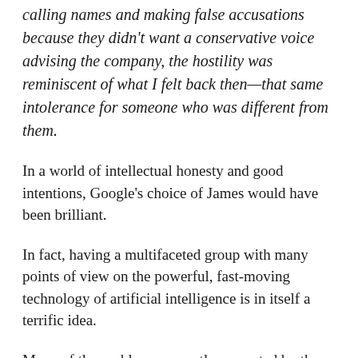calling names and making false accusations because they didn't want a conservative voice advising the company, the hostility was reminiscent of what I felt back then—that same intolerance for someone who was different from them.
In a world of intellectual honesty and good intentions, Google's choice of James would have been brilliant.
In fact, having a multifaceted group with many points of view on the powerful, fast-moving technology of artificial intelligence is in itself a terrific idea.
Many of the problems currently presented by the ever-increasing speed of digital innovation and social media right now have motivated b...